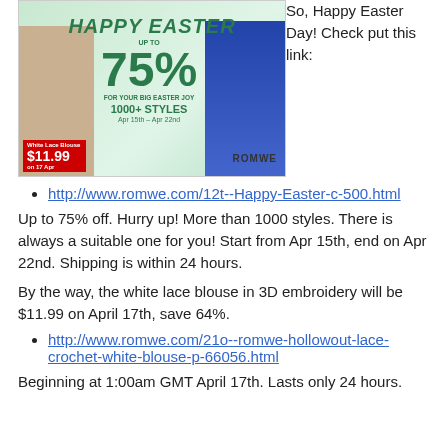[Figure (illustration): Happy Easter sale advertisement for ROMWE showing two female models, up to 75% off, 1000+ styles, Apr 15th - Apr 22nd, White Lace Blouse $11.99 on 17 Apr]
So, Happy Easter Day! Check put this link:
http://www.romwe.com/12t--Happy-Easter-c-500.html
Up to 75% off. Hurry up! More than 1000 styles. There is always a suitable one for you! Start from Apr 15th, end on Apr 22nd. Shipping is within 24 hours.
By the way, the white lace blouse in 3D embroidery will be $11.99 on April 17th, save 64%.
http://www.romwe.com/21o--romwe-hollowout-lace-crochet-white-blouse-p-66056.html
Beginning at 1:00am GMT April 17th. Lasts only 24 hours.